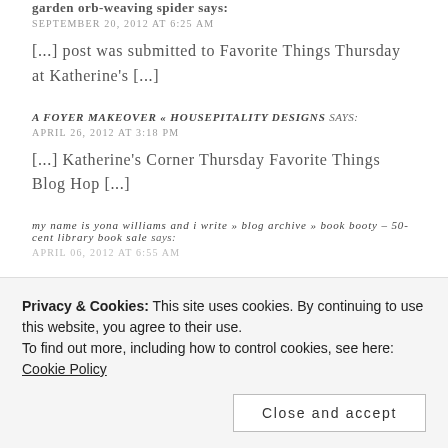garden orb-weaving spider says:
SEPTEMBER 20, 2012 AT 6:25 AM
[...] post was submitted to Favorite Things Thursday at Katherine's [...]
A FOYER MAKEOVER « HOUSEPITALITY DESIGNS says:
APRIL 26, 2012 AT 3:18 PM
[...] Katherine's Corner Thursday Favorite Things Blog Hop [...]
my name is yona williams and i write » blog archive » book booty – 50-cent library book sale says:
APRIL 06, 2012 AT 6:55 AM
Privacy & Cookies: This site uses cookies. By continuing to use this website, you agree to their use. To find out more, including how to control cookies, see here: Cookie Policy
Close and accept